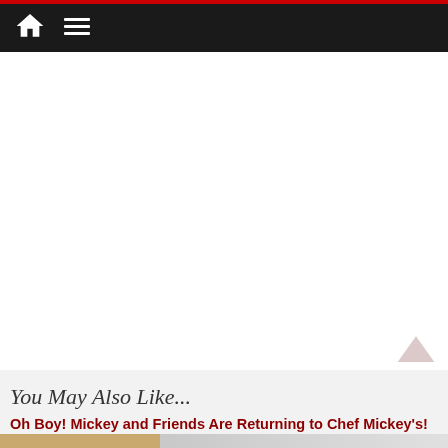[Figure (other): White blank advertisement/content area placeholder]
You May Also Like...
Oh Boy! Mickey and Friends Are Returning to Chef Mickey's!
[Figure (photo): Thumbnail image strip: left portion shows a golden/tan colored image, right portion shows a partially visible food or table scene]